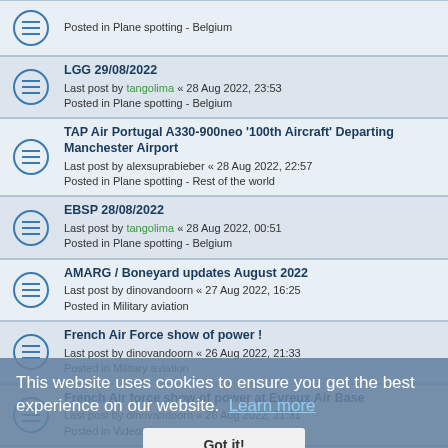Posted in Plane spotting - Belgium
LGG 29/08/2022
Last post by tangolima « 28 Aug 2022, 23:53
Posted in Plane spotting - Belgium
TAP Air Portugal A330-900neo '100th Aircraft' Departing Manchester Airport
Last post by alexsuprabieber « 28 Aug 2022, 22:57
Posted in Plane spotting - Rest of the world
EBSP 28/08/2022
Last post by tangolima « 28 Aug 2022, 00:51
Posted in Plane spotting - Belgium
AMARG / Boneyard updates August 2022
Last post by dinovandoorn « 27 Aug 2022, 16:25
Posted in Military aviation
French Air Force show of power !
Last post by dinovandoorn « 26 Aug 2022, 21:33
Posted in Military aviation
French Air force show of power at Evreux Air Base
Last post by dinovandoorn « 26 Aug 2022, 21:31
Posted in Videos
Australian C-17A Globemaster III - This Is A Very Rare Visitor In Europe
Last post by Redskin301 « 26 Aug 2022, 16:25
Posted in Military aviation
OST 26/08/2022
Last post by sdbelgium « 25 Aug 2022, 22:32
This website uses cookies to ensure you get the best experience on our website. Learn more
Got it!